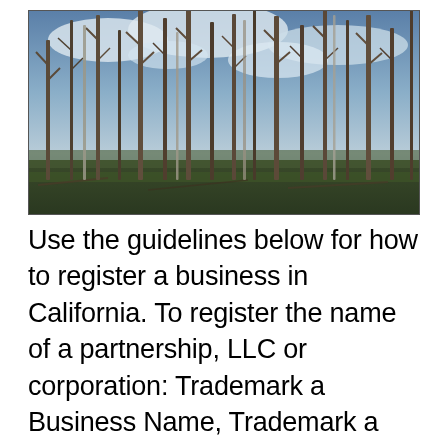[Figure (photo): A photograph of a forest of tall, bare, dead trees (burned or dead standing timber) with a cloudy sky in the background and sparse low vegetation on the ground.]
Use the guidelines below for how to register a business in California. To register the name of a partnership, LLC or corporation: Trademark a Business Name, Trademark a Slogan & Logo. Register a Trademark Online easily. Professional Trademark Registration Services. Once you file a trademark application and register a trademark, you can present yourself as an established and serious business because you can start using the ® symbol